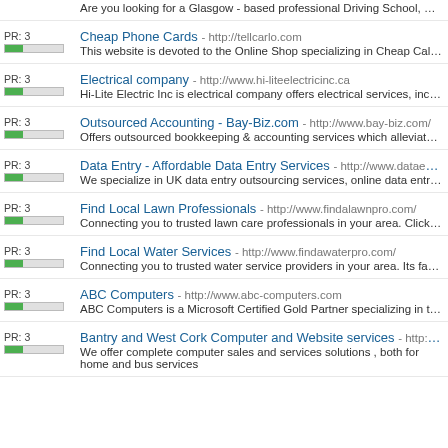Are you looking for a Glasgow - based professional Driving School, working with
PR: 3 | Cheap Phone Cards - http://tellcarlo.com | This website is devoted to the Online Shop specializing in Cheap Calling Cards.
PR: 3 | Electrical company - http://www.hi-liteelectricinc.ca | Hi-Lite Electric Inc is electrical company offers electrical services, including elec
PR: 3 | Outsourced Accounting - Bay-Biz.com - http://www.bay-biz.com/ | Offers outsourced bookkeeping & accounting services which alleviates the trouble
PR: 3 | Data Entry - Affordable Data Entry Services - http://www.dataentryouts... | We specialize in UK data entry outsourcing services, online data entry UK, nume
PR: 3 | Find Local Lawn Professionals - http://www.findalawnpro.com/ | Connecting you to trusted lawn care professionals in your area. Click here to get
PR: 3 | Find Local Water Services - http://www.findawaterpro.com/ | Connecting you to trusted water service providers in your area. Its fast and easy!
PR: 3 | ABC Computers - http://www.abc-computers.com | ABC Computers is a Microsoft Certified Gold Partner specializing in the integratio
PR: 3 | Bantry and West Cork Computer and Website services - http://www... | We offer complete computer sales and services solutions , both for home and bus services